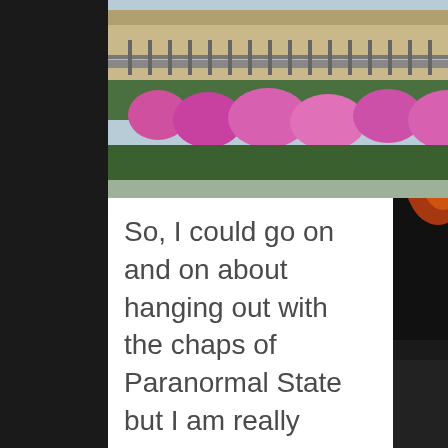[Figure (photo): Outdoor garden scene with pink/magenta flowers in bloom in front of an iron fence and stone building. Photo is cropped at top and bottom.]
So, I could go on and on about hanging out with the chaps of Paranormal State but I am really wanting to get to the down right creepy. After a tour of a cemetery and a nice dinner downtown it was time to